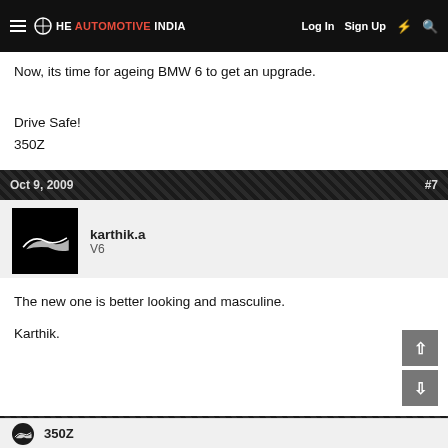THE AUTOMOTIVE INDIA | Log In | Sign Up
Now, its time for ageing BMW 6 to get an upgrade.
Drive Safe!
350Z
Oct 9, 2009   #7
karthik.a
V6
The new one is better looking and masculine.

Karthik.
Oct 11, 2009   Thread Starter   #8
350Z